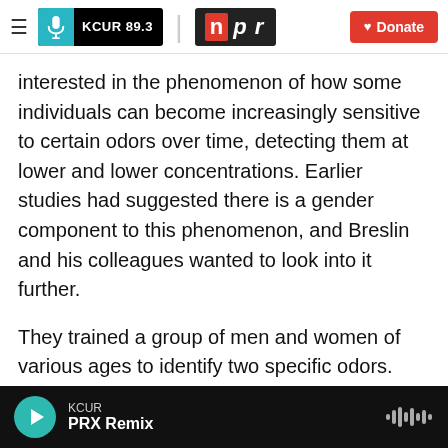KCUR 89.3 | npr | Donate
interested in the phenomenon of how some individuals can become increasingly sensitive to certain odors over time, detecting them at lower and lower concentrations. Earlier studies had suggested there is a gender component to this phenomenon, and Breslin and his colleagues wanted to look into it further.
They trained a group of men and women of various ages to identify two specific odors. The researchers then had both the men and the women smell the odors at increasingly diluted concentrations. And they found something quite
KCUR PRX Remix